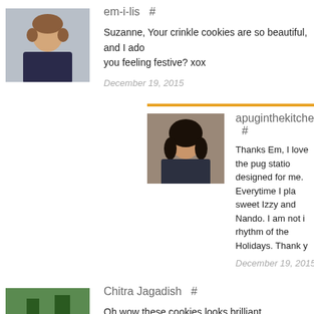[Figure (photo): Profile photo of em-i-lis, a woman with short brown hair wearing a dark top and beaded necklace]
em-i-lis  #
Suzanne, Your crinkle cookies are so beautiful, and I ado... you feeling festive? xox
December 19, 2015
[Figure (photo): Profile photo of apuginthekitchen, a woman with dark hair]
apuginthekitchen  #
Thanks Em, I love the pug statio... designed for me. Everytime I pla... sweet Izzy and Nando. I am not i... rhythm of the Holidays. Thank y...
December 19, 2015
[Figure (photo): Profile photo of Chitra Jagadish, a person near trees]
Chitra Jagadish  #
Oh wow these cookies looks brilliant Suzanne.... perfec...